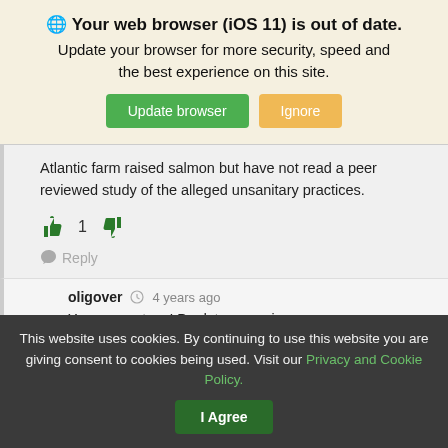🌐 Your web browser (iOS 11) is out of date. Update your browser for more security, speed and the best experience on this site.
Update browser | Ignore
Atlantic farm raised salmon but have not read a peer reviewed study of the alleged unsanitary practices.
👍 1 👎
💬 Reply
oligover  🕐 4 years ago
You are spot on ! Predatory species are
This website uses cookies. By continuing to use this website you are giving consent to cookies being used. Visit our Privacy and Cookie Policy.  I Agree